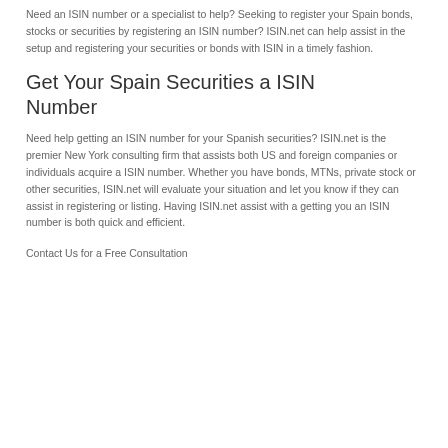Need an ISIN number or a specialist to help? Seeking to register your Spain bonds, stocks or securities by registering an ISIN number? ISIN.net can help assist in the setup and registering your securities or bonds with ISIN in a timely fashion.
Get Your Spain Securities a ISIN Number
Need help getting an ISIN number for your Spanish securities? ISIN.net is the premier New York consulting firm that assists both US and foreign companies or individuals acquire a ISIN number. Whether you have bonds, MTNs, private stock or other securities, ISIN.net will evaluate your situation and let you know if they can assist in registering or listing. Having ISIN.net assist with a getting you an ISIN number is both quick and efficient.
Contact Us for a Free Consultation